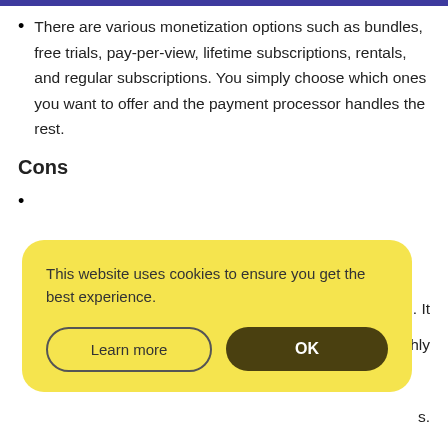There are various monetization options such as bundles, free trials, pay-per-view, lifetime subscriptions, rentals, and regular subscriptions. You simply choose which ones you want to offer and the payment processor handles the rest.
Cons
[partially obscured by cookie dialog] ...nth. It ...nthly ...s.
[Figure (screenshot): Cookie consent popup with yellow background. Text reads: 'This website uses cookies to ensure you get the best experience.' Two buttons: 'Learn more' (outlined) and 'OK' (dark filled).]